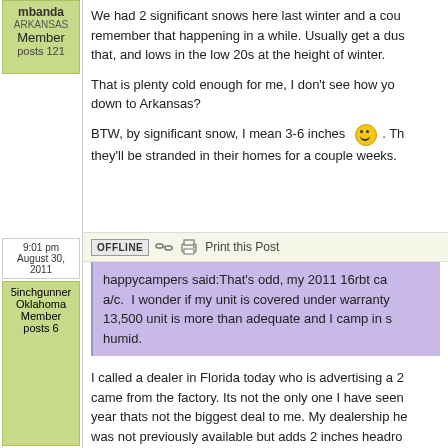We had 2 significant snows here last winter and a cou... remember that happening in a while. Usually get a dus... that, and lows in the low 20s at the height of winter.

That is plenty cold enough for me, I don't see how you... down to Arkansas?

BTW, by significant snow, I mean 3-6 inches. Th... they'll be stranded in their homes for a couple weeks.
mbanda
ARKANSAS
Member
posts 121
9:01 pm
August 30, 2011
5inchgunner
Oklahoma
Member
posts 6
OFFLINE | Print this Post
happycampers said:That's odd, my 2011 16rbt ca... a/c. I wonder if my unit is covered under warranty... 13,500 unit is more than adequate and I camp in s... humid.
I called a dealer in Florida today who is advertising a 2... came from the factory. Its not the only one I have seen... year thats not the biggest deal to me. My dealership he... was not previously available but adds 2 inches headro...